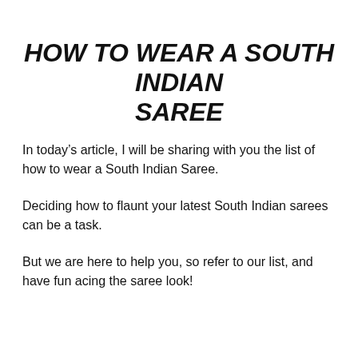HOW TO WEAR A SOUTH INDIAN SAREE
In today’s article, I will be sharing with you the list of how to wear a South Indian Saree.
Deciding how to flaunt your latest South Indian sarees can be a task.
But we are here to help you, so refer to our list, and have fun acing the saree look!